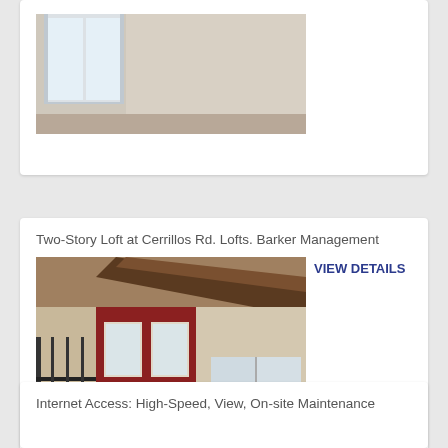[Figure (photo): Partial view of a room interior with a window showing natural light, light-colored walls, top portion of photo visible]
Two-Story Loft at Cerrillos Rd. Lofts. Barker Management
VIEW DETAILS
[Figure (photo): Interior of a two-story loft apartment showing high ceilings with exposed wooden beams, dark metal stair railing, red accent walls, white window blinds, a floor lamp, and a sliding glass door]
Internet Access: High-Speed, View, On-site Maintenance